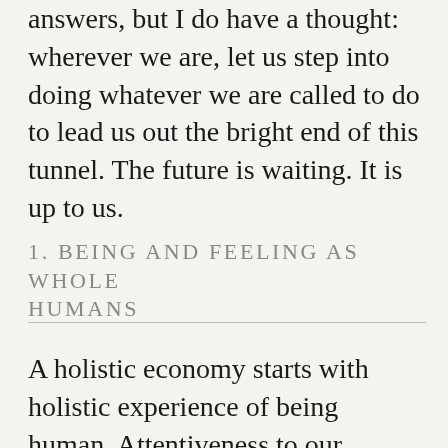answers, but I do have a thought: wherever we are, let us step into doing whatever we are called to do to lead us out the bright end of this tunnel. The future is waiting. It is up to us.
1. BEING AND FEELING AS WHOLE HUMANS
A holistic economy starts with holistic experience of being human. Attentiveness to our genuine human needs breaks the chain of illusion the greed